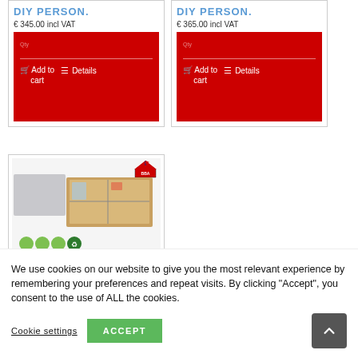DIY PERSON.
€ 345.00 incl VAT
Add to cart  Details
DIY PERSON.
€ 365.00 incl VAT
Add to cart  Details
[Figure (photo): Product image showing a flat panel, a 3D cutaway model of a room/house, green circular icons, and a BBA certification badge in the top right corner.]
We use cookies on our website to give you the most relevant experience by remembering your preferences and repeat visits. By clicking "Accept", you consent to the use of ALL the cookies.
Cookie settings
ACCEPT